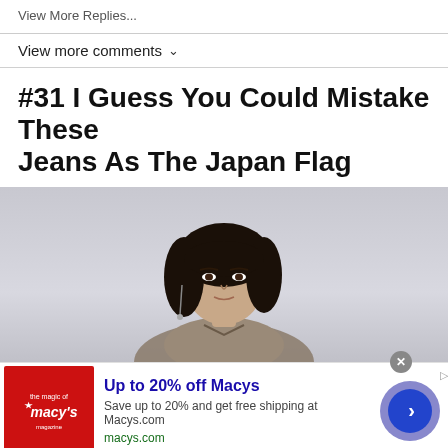View More Replies...
View more comments ∨
#31 I Guess You Could Mistake These Jeans As The Japan Flag
[Figure (photo): A young Asian woman with dark wavy hair and dangling earrings, wearing a sparkly/metallic top, posed against a light grey background, looking toward the camera with a neutral expression.]
[Figure (other): Advertisement banner for Macys.com: red Macy's logo square on left, text 'Up to 20% off Macys / Save up to 20% and get free shipping at Macys.com / macys.com', blue circular CTA button on right with right-arrow chevron. Close X button top right.]